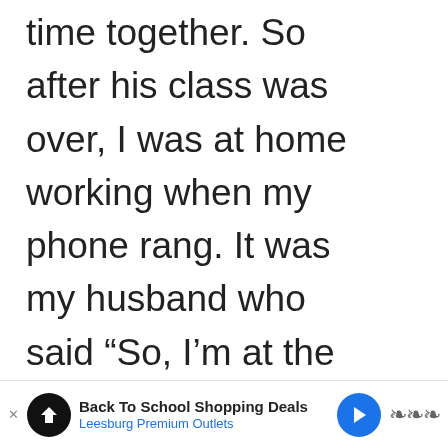time together. So after his class was over, I was at home working when my phone rang. It was my husband who said “So, I’m at the craft store…” Say, what?!?!?! And then he said the most wonderful sentence I’ve ever heard…“Do you need anything?” Someone offering to buy me things from the craft store does not get better than this! But I
[Figure (infographic): Heart/like button icon (salmon/peach circle with heart), share count 118, and share button icon overlaid on the right side of the page]
[Figure (infographic): WHAT'S NEXT arrow label with thumbnail image and text 'Adorable DIY Valentine's...' in a small box]
[Figure (infographic): Advertisement bar at bottom: 'Back To School Shopping Deals' from 'Leesburg Premium Outlets' with navigation icon and weather icon]